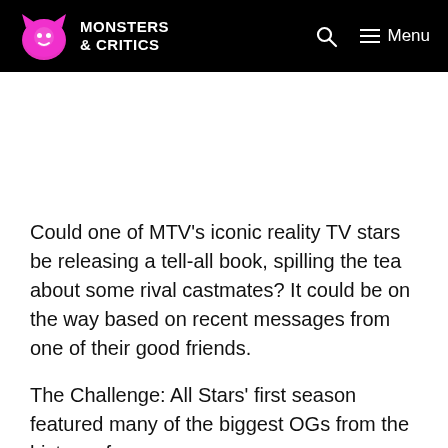MONSTERS & CRITICS — Menu
Could one of MTV's iconic reality TV stars be releasing a tell-all book, spilling the tea about some rival castmates? It could be on the way based on recent messages from one of their good friends.
The Challenge: All Stars' first season featured many of the biggest OGs from the history of